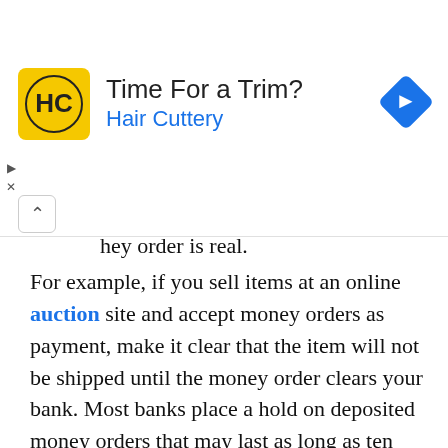[Figure (other): Hair Cuttery advertisement banner with logo, 'Time For a Trim?' heading, 'Hair Cuttery' subheading in blue, and a blue navigation arrow icon on the right.]
hey order is real.
For example, if you sell items at an online auction site and accept money orders as payment, make it clear that the item will not be shipped until the money order clears your bank. Most banks place a hold on deposited money orders that may last as long as ten business days. Once your bank has cleared the payment, then you can release the goods to the buyer.